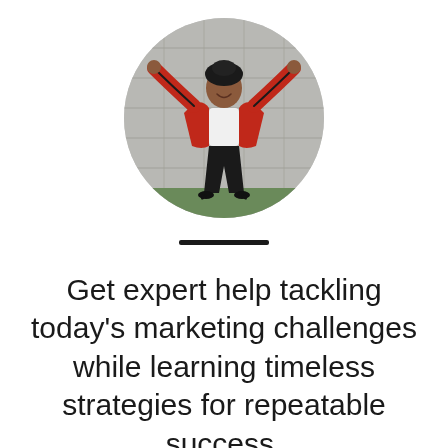[Figure (photo): Circular cropped photo of a woman jumping joyfully with arms spread wide, wearing a red plaid shirt and black pants, against a light concrete wall background.]
Get expert help tackling today's marketing challenges while learning timeless strategies for repeatable success.